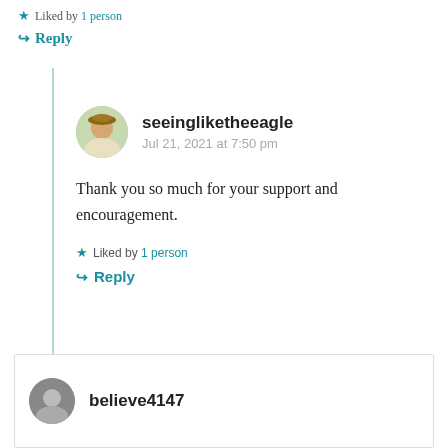★ Liked by 1 person
↳ Reply
seeingliketheeagle
Jul 21, 2021 at 7:50 pm
Thank you so much for your support and encouragement.
★ Liked by 1 person
↳ Reply
believe4147